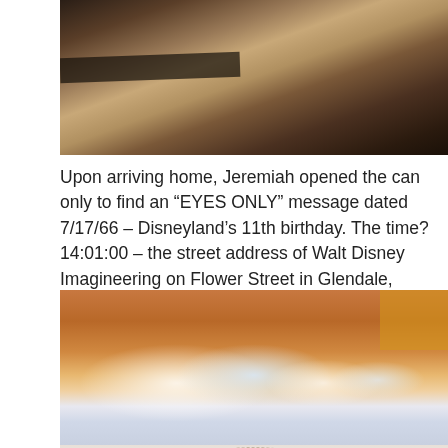[Figure (photo): Close-up photo of dark wood grain surface with a dark metallic object (possibly a pen or stylus) resting on it]
Upon arriving home, Jeremiah opened the can only to find an “EYES ONLY” message dated 7/17/66 – Disneyland’s 11th birthday. The time? 14:01:00 – the street address of Walt Disney Imagineering on Flower Street in Glendale, Calif. The message? An assignment to “befriend” faculty at university’s like MIT, Caltech, or Carnegie Mellon. The purpose? Unknown.
[Figure (photo): Close-up photo of a shiny wooden or lacquered surface with reflections, and below it a circular stamp or seal reading 'EYES ONLY' with text around the perimeter 'URGENT - DELIVER WITHOUT DELAY']